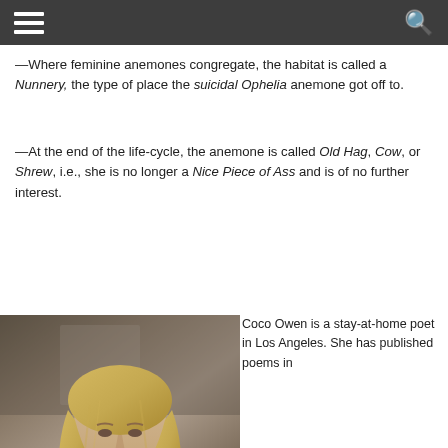[navigation bar with hamburger menu and search icon]
—Where feminine anemones congregate, the habitat is called a Nunnery, the type of place the suicidal Ophelia anemone got off to.
—At the end of the life-cycle, the anemone is called Old Hag, Cow, or Shrew, i.e., she is no longer a Nice Piece of Ass and is of no further interest.
[Figure (photo): Portrait photo of Coco Owen, a woman with shoulder-length blonde hair]
Coco Owen is a stay-at-home poet in Los Angeles. She has published poems in the Antioch...